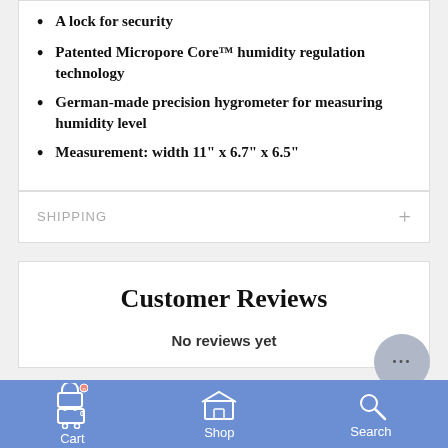A lock for security
Patented Micropore Core™ humidity regulation technology
German-made precision hygrometer for measuring humidity level
Measurement: width 11" x 6.7" x 6.5"
SHIPPING
Customer Reviews
No reviews yet
Cart  Shop  Search